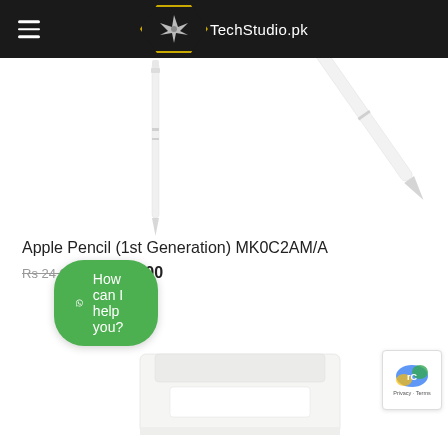TechStudio.pk
[Figure (photo): Apple Pencil 1st Generation product image showing two white styluses on white background]
Apple Pencil (1st Generation) MK0C2AM/A
Rs 24,000 Rs 22,000
Add to cart
[Figure (photo): Apple Pencil product box packaging on white background]
How can I help you?